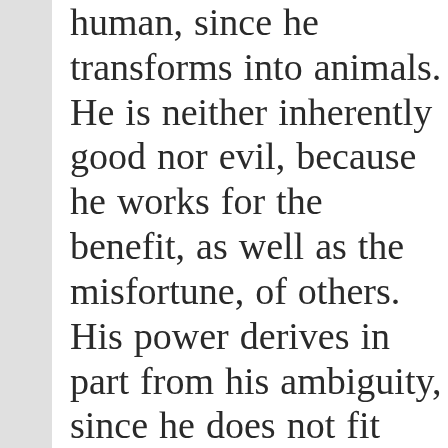human, since he transforms into animals. He is neither inherently good nor evil, because he works for the benefit, as well as the misfortune, of others. His power derives in part from his ambiguity, since he does not fit into the